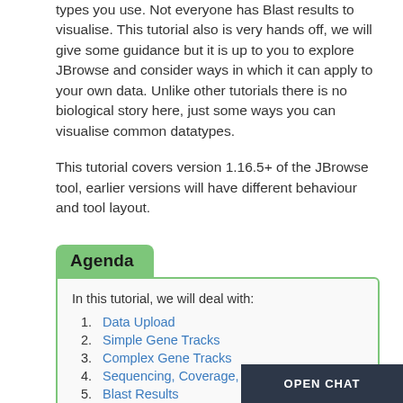types you use. Not everyone has Blast results to visualise. This tutorial also is very hands off, we will give some guidance but it is up to you to explore JBrowse and consider ways in which it can apply to your own data. Unlike other tutorials there is no biological story here, just some ways you can visualise common datatypes.
This tutorial covers version 1.16.5+ of the JBrowse tool, earlier versions will have different behaviour and tool layout.
Agenda
In this tutorial, we will deal with:
1. Data Upload
2. Simple Gene Tracks
3. Complex Gene Tracks
4. Sequencing, Coverage, and Variation
5. Blast Results
6. Conclusion